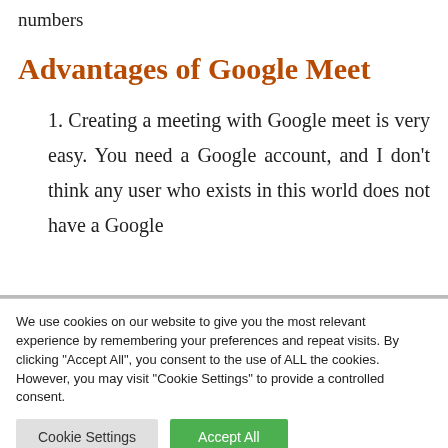numbers
Advantages of Google Meet
1. Creating a meeting with Google meet is very easy. You need a Google account, and I don't think any user who exists in this world does not have a Google
We use cookies on our website to give you the most relevant experience by remembering your preferences and repeat visits. By clicking "Accept All", you consent to the use of ALL the cookies. However, you may visit "Cookie Settings" to provide a controlled consent.